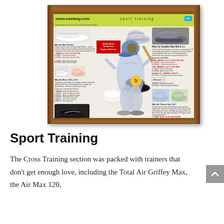[Figure (photo): Eastbay catalog page showing sport training shoes with page number 81, featuring a baseball player (Ken Griffey Jr.) swinging a bat in the center, surrounded by various Nike shoe products including Air Max and Total Air Griffey Max models. Header shows www.eastbay.com and 'sport training' text on yellow-green background.]
Sport Training
The Cross Training section was packed with trainers that don't get enough love, including the Total Air Griffey Max, the Air Max 120,